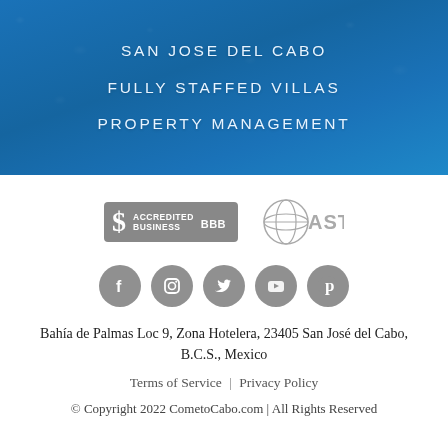SAN JOSE DEL CABO
FULLY STAFFED VILLAS
PROPERTY MANAGEMENT
[Figure (logo): BBB Accredited Business badge and ASTA globe logo, both in gray]
[Figure (infographic): Row of five gray circular social media icons: Facebook, Instagram, Twitter, YouTube, Pinterest]
Bahía de Palmas Loc 9, Zona Hotelera, 23405 San José del Cabo, B.C.S., Mexico
Terms of Service | Privacy Policy
© Copyright 2022 CometoCabo.com | All Rights Reserved